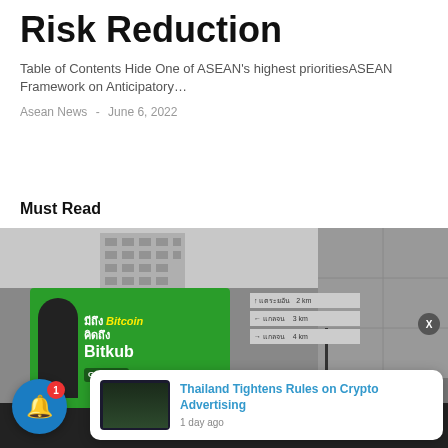Risk Reduction
Table of Contents Hide One of ASEAN's highest prioritiesASEAN Framework on Anticipatory…
Asean News - June 6, 2022
Must Read
[Figure (photo): Street scene in black and white showing a billboard advertising Bitkub Bitcoin exchange in Bangkok Thailand, with Thai road signs visible on the right side. A notification popup appears in the lower right showing 'Thailand Tightens Rules on Crypto Advertising - 1 day ago'. A blue notification bell with badge showing '1' is visible in the lower left. An X close button is visible on the right side of the image.]